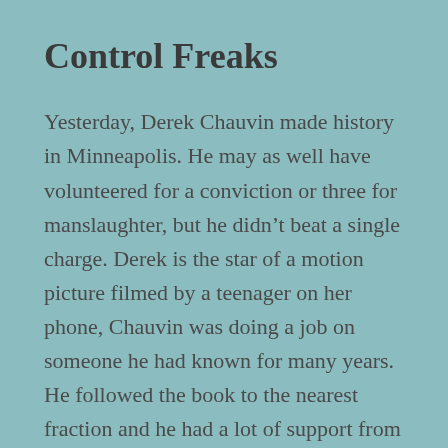Control Freaks
Yesterday, Derek Chauvin made history in Minneapolis. He may as well have volunteered for a conviction or three for manslaughter, but he didn’t beat a single charge. Derek is the star of a motion picture filmed by a teenager on her phone, Chauvin was doing a job on someone he had known for many years. He followed the book to the nearest fraction and he had a lot of support from his fellow officers of law and order. This could have been his tenth knee to the neck operation and he would have walked at each encounter with a black whose life does not matter to the men in blue or to the citizens